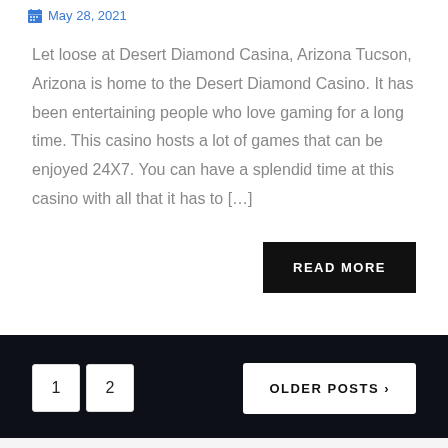May 28, 2021
Let loose at Desert Diamond Casina, Arizona Tucson, Arizona is home to the Desert Diamond Casino. It has been entertaining people who love gaming for a long time. This casino hosts a lot of games that can be enjoyed 24X7. You can have a splendid time at this casino with all that it has to […]
READ MORE
1 2 OLDER POSTS ❯
RECENT POSTS